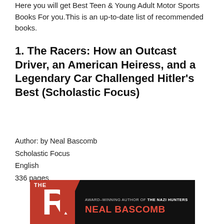Here you will get Best Teen & Young Adult Motor Sports Books For you. This is an up-to-date list of recommended books.
1. The Racers: How an Outcast Driver, an American Heiress, and a Legendary Car Challenged Hitler's Best (Scholastic Focus)
Author: by Neal Bascomb
Scholastic Focus
English
336 pages
[Figure (photo): Book cover of 'The Racers' by Neal Bascomb. Dark/black background with red block on left showing large letter R, white and red text reading 'AWARD-WINNING AUTHOR OF THE NAZI HUNTERS' and 'NEAL BASCOMB'.]